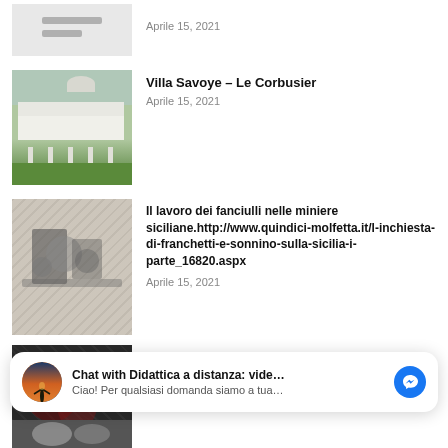[Figure (photo): Partial thumbnail image at top, greyed out document placeholder]
Aprile 15, 2021
[Figure (photo): Villa Savoye by Le Corbusier - white modernist building on pillars with green lawn]
Villa Savoye – Le Corbusier
Aprile 15, 2021
[Figure (photo): Black and white historical illustration of child miners in sicilian mines]
Il lavoro dei fanciulli nelle miniere siciliane.http://www.quindici-molfetta.it/l-inchiesta-di-franchetti-e-sonnino-sulla-sicilia-i-parte_16820.aspx
Aprile 15, 2021
[Figure (photo): Decorative artwork on silk with red and dark motifs]
La decorazione su seta
Aprile 15, 2021
[Figure (screenshot): Facebook Messenger chat widget: Chat with Didattica a distanza: vide... / Ciao! Per qualsiasi domanda siamo a tua...]
[Figure (photo): Partial thumbnail at bottom, black and white photo]